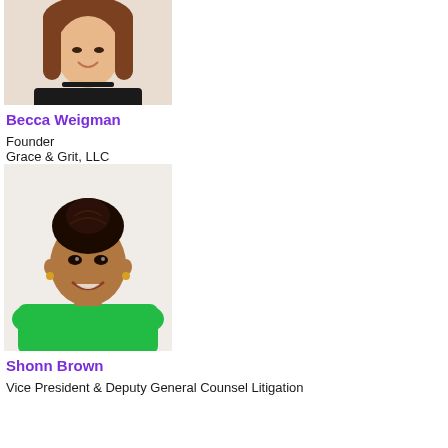[Figure (photo): Headshot of Becca Weigman, a woman with long brown hair wearing a black top, smiling]
Becca Weigman
Founder
Grace & Grit, LLC
[Figure (photo): Headshot of Shonn Brown, a woman with braided hair in a bun wearing a green top, smiling]
Shonn Brown
Vice President & Deputy General Counsel Litigation